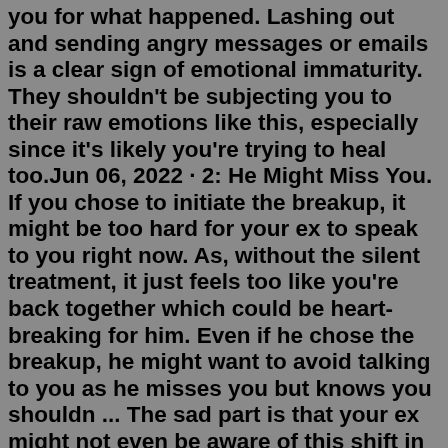you for what happened. Lashing out and sending angry messages or emails is a clear sign of emotional immaturity. They shouldn't be subjecting you to their raw emotions like this, especially since it's likely you're trying to heal too.Jun 06, 2022 · 2: He Might Miss You. If you chose to initiate the breakup, it might be too hard for your ex to speak to you right now. As, without the silent treatment, it just feels too like you're back together which could be heart-breaking for him. Even if he chose the breakup, he might want to avoid talking to you as he misses you but knows you shouldn ... The sad part is that your ex might not even be aware of this shift in behavior. Masked as a plain annoyance, his brute behavior could be his subconscious' way of processing his emotions and letting go of tension. He's constantly on edge about you (even if he doesn't know it) and he ends up taking it out on friends and maybe even complete strangers.It is no secret that thoughts are responsible for how you feel. It is also no secret that you feel emotion before you have to chance to